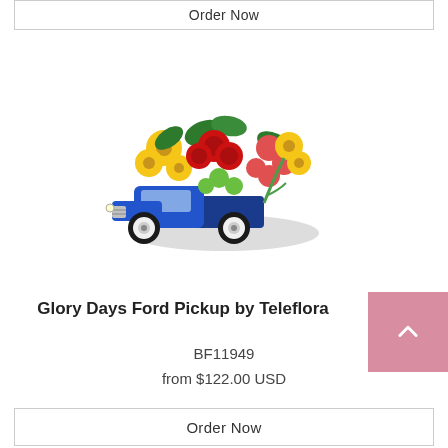Order Now
[Figure (photo): A floral arrangement featuring red roses, yellow daisies, pink alstroemeria, and green button poms displayed in a blue vintage Ford pickup truck ceramic vase.]
Glory Days Ford Pickup by Teleflora
BF11949
from $122.00 USD
Order Now